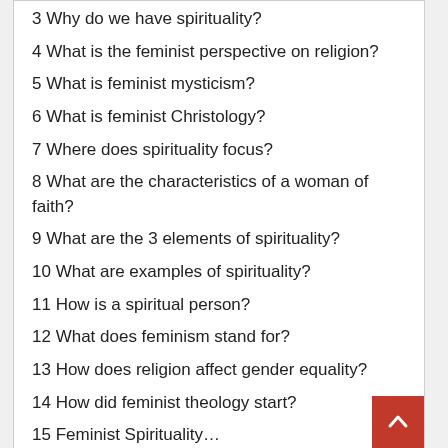3 Why do we have spirituality?
4 What is the feminist perspective on religion?
5 What is feminist mysticism?
6 What is feminist Christology?
7 Where does spirituality focus?
8 What are the characteristics of a woman of faith?
9 What are the 3 elements of spirituality?
10 What are examples of spirituality?
11 How is a spiritual person?
12 What does feminism stand for?
13 How does religion affect gender equality?
14 How did feminist theology start?
15 Feminist Spirituality…